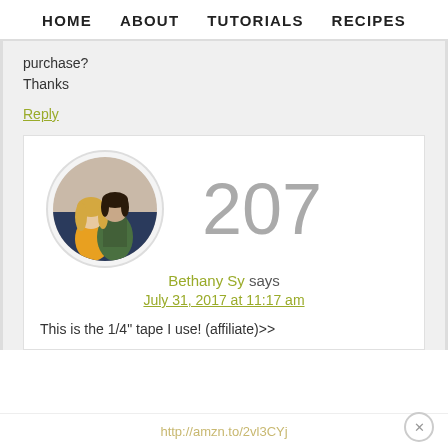HOME   ABOUT   TUTORIALS   RECIPES
purchase?
Thanks
Reply
[Figure (photo): Circular avatar photo of a couple, a woman with blonde hair in a yellow top and a man with dark hair]
207
Bethany Sy says
July 31, 2017 at 11:17 am
This is the 1/4" tape I use! (affiliate)>>
http://amzn.to/2vl3CYj